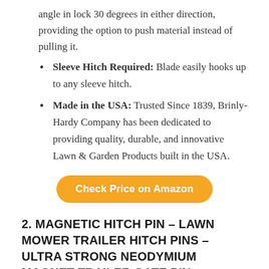angle in lock 30 degrees in either direction, providing the option to push material instead of pulling it.
Sleeve Hitch Required: Blade easily hooks up to any sleeve hitch.
Made in the USA: Trusted Since 1839, Brinly-Hardy Company has been dedicated to providing quality, durable, and innovative Lawn & Garden Products built in the USA.
Check Price on Amazon
2. MAGNETIC HITCH PIN – LAWN MOWER TRAILER HITCH PINS – ULTRA STRONG NEODYMIUM MAGNET TRAILER GATE PIN